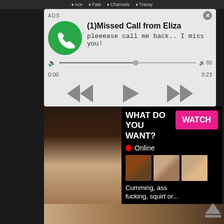Ace • Fate • Channels • Tracey
[Figure (screenshot): Ad notification card with green phone icon, title '(1)Missed Call from Eliza', subtitle 'pleeease call me back.. I miss you!', audio player with progress bar, rewind/play/fast-forward controls]
[Figure (screenshot): Adult ad overlay with 'WHAT DO YOU WANT?' text, pink WATCH button, red Online indicator, thumbnail images, text 'Cumming, ass fucking, squirt or...' and ADS label with X close button]
[Figure (photo): Adult content image strip at bottom of page]
[Figure (other): Eject/triangle icon in bottom right corner]